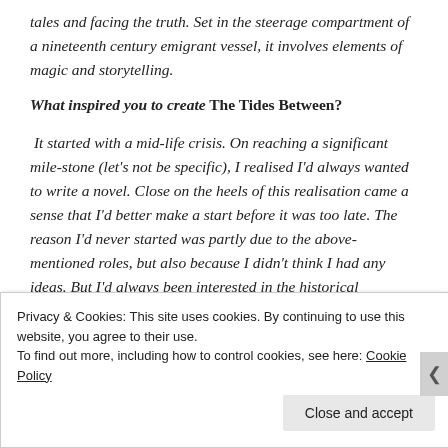tales and facing the truth. Set in the steerage compartment of a nineteenth century emigrant vessel, it involves elements of magic and storytelling.
What inspired you to create The Tides Between?
It started with a mid-life crisis. On reaching a significant mile-stone (let's not be specific), I realised I'd always wanted to write a novel. Close on the heels of this realisation came a sense that I'd better make a start before it was too late. The reason I'd never started was partly due to the above-mentioned roles, but also because I didn't think I had any ideas. But I'd always been interested in the historical character of Caroline Chisholm – the emigrant's friend. I started by
Privacy & Cookies: This site uses cookies. By continuing to use this website, you agree to their use.
To find out more, including how to control cookies, see here: Cookie Policy
Close and accept